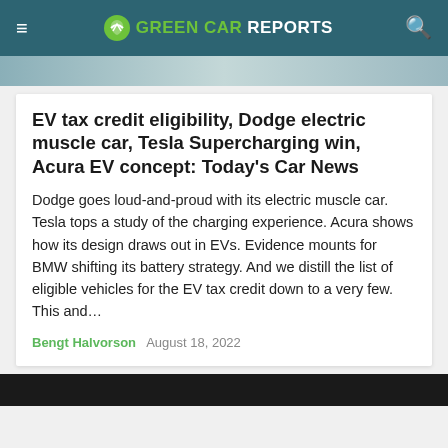GREEN CAR REPORTS
[Figure (photo): Top portion of a car photo, partially visible as a strip]
EV tax credit eligibility, Dodge electric muscle car, Tesla Supercharging win, Acura EV concept: Today's Car News
Dodge goes loud-and-proud with its electric muscle car. Tesla tops a study of the charging experience. Acura shows how its design draws out in EVs. Evidence mounts for BMW shifting its battery strategy. And we distill the list of eligible vehicles for the EV tax credit down to a very few. This and…
Bengt Halvorson   August 18, 2022
[Figure (photo): Dark banner/image strip at bottom of page]